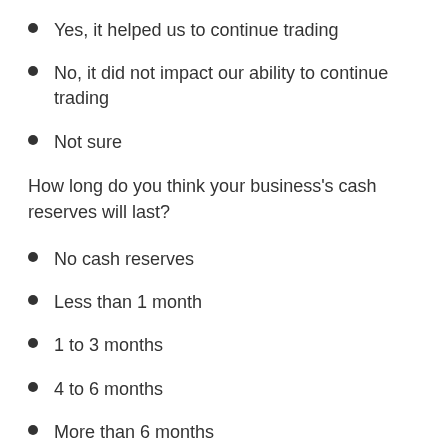Yes, it helped us to continue trading
No, it did not impact our ability to continue trading
Not sure
How long do you think your business's cash reserves will last?
No cash reserves
Less than 1 month
1 to 3 months
4 to 6 months
More than 6 months
Not sure